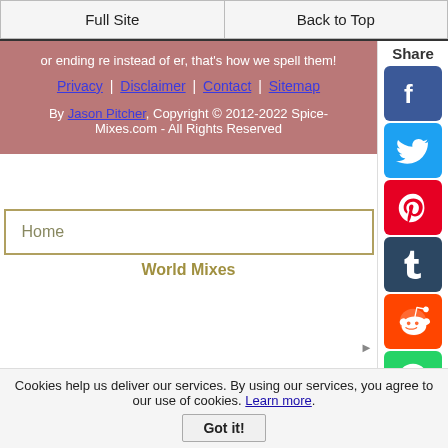Full Site | Back to Top
or ending re instead of er, that's how we spell them!
Privacy | Disclaimer | Contact | Sitemap
By Jason Pitcher, Copyright © 2012-2022 Spice-Mixes.com - All Rights Reserved
[Figure (other): Social share sidebar with icons for Facebook, Twitter, Pinterest, Tumblr, Reddit, WhatsApp, and Messenger]
Home
World Mixes
Cookies help us deliver our services. By using our services, you agree to our use of cookies. Learn more. Got it!